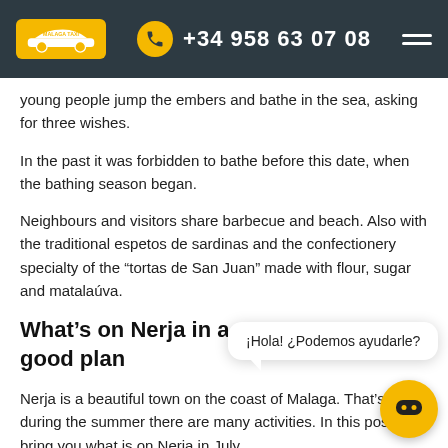MALAGA TAXI | +34 958 63 07 08
young people jump the embers and bathe in the sea, asking for three wishes.
In the past it was forbidden to bathe before this date, when the bathing season began.
Neighbours and visitors share barbecue and beach. Also with the traditional espetos de sardinas and the confectionery specialty of the “tortas de San Juan” made with flour, sugar and matalaúva.
What’s on Nerja in a good plan
Nerja is a beautiful town on the coast of Malaga. That’s why during the summer there are many activities. In this post, we bring you what is on Nerja in July.